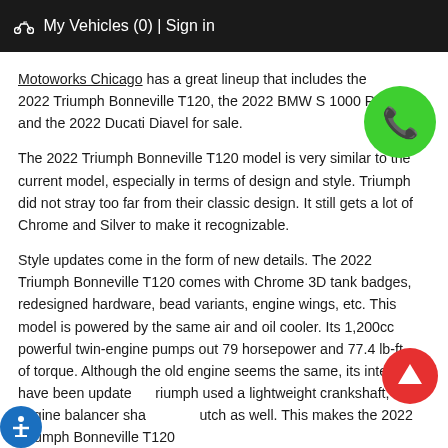🚲 My Vehicles (0) | Sign in
Motoworks Chicago has a great lineup that includes the 2022 Triumph Bonneville T120, the 2022 BMW S 1000 RR, and the 2022 Ducati Diavel for sale.
[Figure (other): Green circular phone button overlay]
The 2022 Triumph Bonneville T120 model is very similar to the current model, especially in terms of design and style. Triumph did not stray too far from their classic design. It still gets a lot of Chrome and Silver to make it recognizable.
Style updates come in the form of new details. The 2022 Triumph Bonneville T120 comes with Chrome 3D tank badges, redesigned hardware, bead variants, engine wings, etc. This model is powered by the same air and oil cooler. Its 1,200cc powerful twin-engine pumps out 79 horsepower and 77.4 lb-ft. of torque. Although the old engine seems the same, its internals have been updated. Triumph used a lightweight crankshaft, engine balancer shaft, and clutch as well. This makes the 2022 Triumph Bonneville T120
[Figure (other): Red circular up-arrow scroll button overlay]
[Figure (other): Blue accessibility button at bottom left]